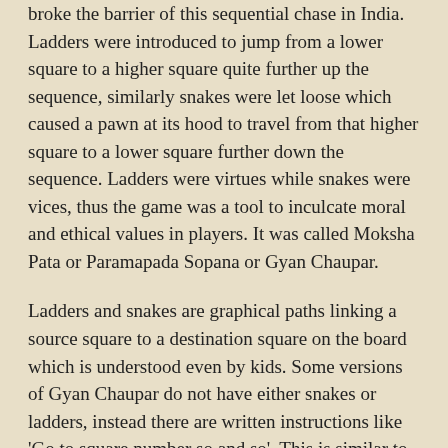broke the barrier of this sequential chase in India. Ladders were introduced to jump from a lower square to a higher square quite further up the sequence, similarly snakes were let loose which caused a pawn at its hood to travel from that higher square to a lower square further down the sequence. Ladders were virtues while snakes were vices, thus the game was a tool to inculcate moral and ethical values in players. It was called Moksha Pata or Paramapada Sopana or Gyan Chaupar.
Ladders and snakes are graphical paths linking a source square to a destination square on the board which is understood even by kids. Some versions of Gyan Chaupar do not have either snakes or ladders, instead there are written instructions like 'Go to square number so and so'. This is similar to a sequential computer programming language with 'goto' statements. Ancient board game and a modern computer language - what are the odds!
India is home to many such board games which have travelled abroad and gained global popularity. Majority of board games with exception of Pachisi, Chaduranga,